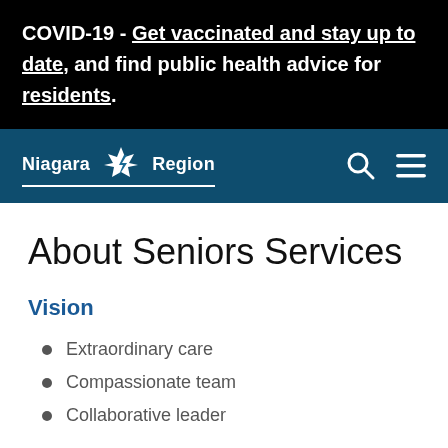COVID-19 - Get vaccinated and stay up to date, and find public health advice for residents.
[Figure (logo): Niagara Region logo with stylized maple leaf and lightning bolt design, white text on dark teal navigation bar, with search and menu icons]
About Seniors Services
Vision
Extraordinary care
Compassionate team
Collaborative leader